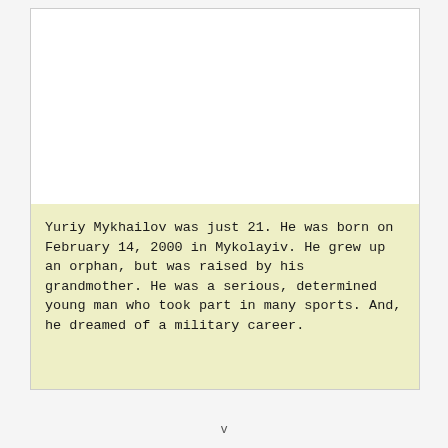[Figure (photo): White rectangular photo area (blank/placeholder photo) at the top of a pale yellow card]
Yuriy Mykhailov was just 21. He was born on February 14, 2000 in Mykolayiv. He grew up an orphan, but was raised by his grandmother. He was a serious, determined young man who took part in many sports. And, he dreamed of a military career.
v